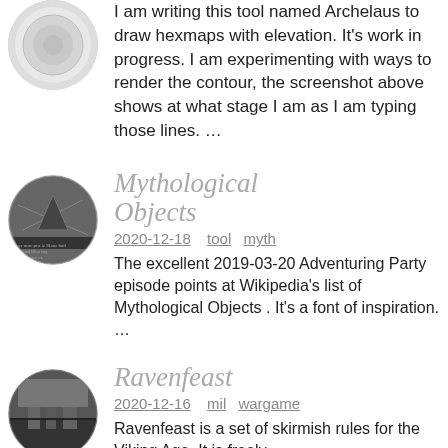I am writing this tool named Archelaus to draw hexmaps with elevation. It's work in progress. I am experimenting with ways to render the contour, the screenshot above shows at what stage I am as I am typing those lines. …
[Figure (illustration): Circular avatar with a dark historical/medieval map or illustration image]
Mythological Objects
2020-12-18  tool  myth
The excellent 2019-03-20 Adventuring Party episode points at Wikipedia's list of Mythological Objects . It's a font of inspiration. …
[Figure (photo): Circular avatar with a dark grayscale photo showing Viking or medieval themed scene]
Ravenfeast
2020-12-16  mil  wargame
Ravenfeast is a set of skirmish rules for the Viking Age. It is freely